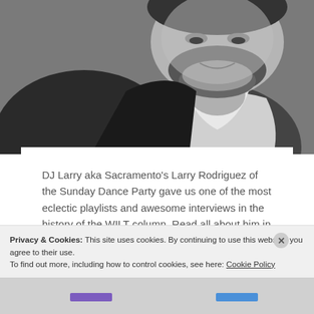[Figure (photo): Black and white close-up photo of a bearded man wearing a dark jacket and white open-collar shirt, looking down with a smile.]
DJ Larry aka Sacramento's Larry Rodriguez of the Sunday Dance Party gave us one of the most eclectic playlists and awesome interviews in the history of the WILT column. Read all about him in my new TUBE. Magazine article.
Privacy & Cookies: This site uses cookies. By continuing to use this website, you agree to their use.
To find out more, including how to control cookies, see here: Cookie Policy
Close and accept